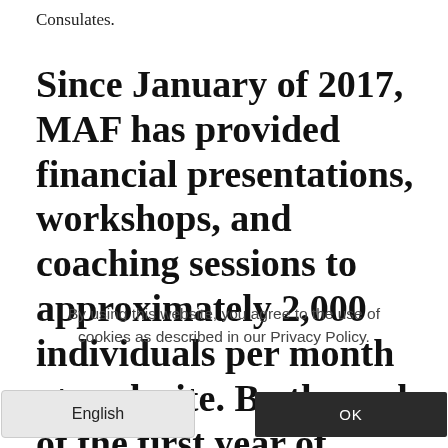Consulates.
Since January of 2017, MAF has provided financial presentations, workshops, and coaching sessions to approximately 2,000 individuals per month at each site. By the end of the first year of
By using this website, you agree to the use of cookies as described in our Privacy Policy.
English
OK